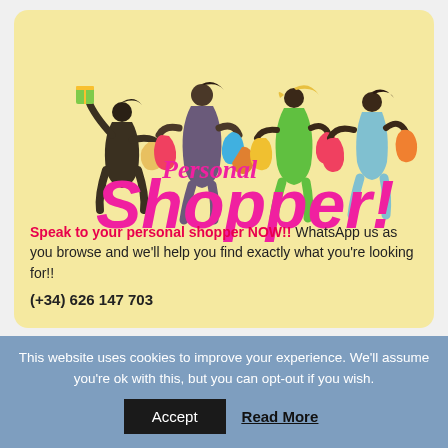[Figure (illustration): Silhouette illustration of four stylish women carrying shopping bags in various colors, with bold pink 'Personal Shopper!' text overlaid on a cream/yellow background card.]
Speak to your personal shopper NOW!! WhatsApp us as you browse and we'll help you find exactly what you're looking for!! (+34) 626 147 703
This website uses cookies to improve your experience. We'll assume you're ok with this, but you can opt-out if you wish.